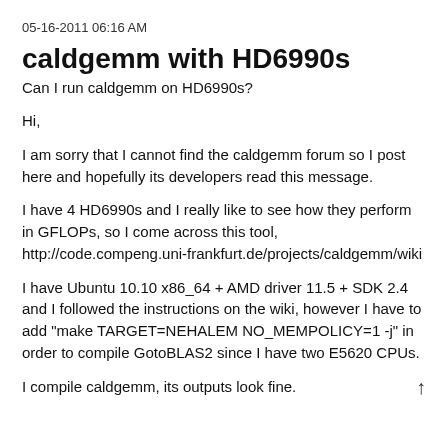05-16-2011 06:16 AM
caldgemm with HD6990s
Can I run caldgemm on HD6990s?
Hi,
I am sorry that I cannot find the caldgemm forum so I post here and hopefully its developers read this message.
I have 4 HD6990s and I really like to see how they perform in GFLOPs, so I come across this tool, http://code.compeng.uni-frankfurt.de/projects/caldgemm/wiki
I have Ubuntu 10.10 x86_64 + AMD driver 11.5 + SDK 2.4 and I followed the instructions on the wiki, however I have to add "make TARGET=NEHALEM NO_MEMPOLICY=1 -j" in order to compile GotoBLAS2 since I have two E5620 CPUs.
I compile caldgemm, its outputs look fine.